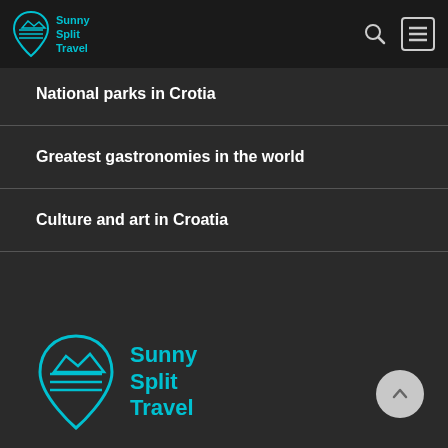Sunny Split Travel
About Croatia
National parks in Crotia
Greatest gastronomies in the world
Culture and art in Croatia
[Figure (logo): Sunny Split Travel logo - teal map pin icon with waves and mountain, with teal text 'Sunny Split Travel']